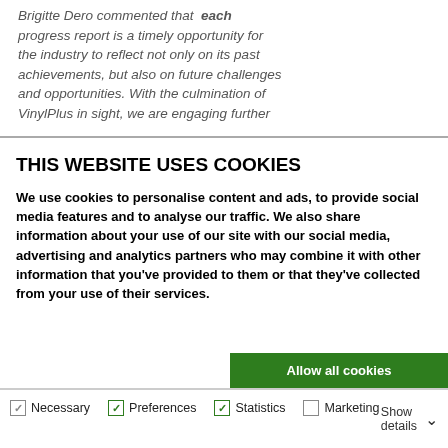Brigitte Dero commented that each progress report is a timely opportunity for the industry to reflect not only on its past achievements, but also on future challenges and opportunities. With the culmination of VinylPlus in sight, we are engaging further
THIS WEBSITE USES COOKIES
We use cookies to personalise content and ads, to provide social media features and to analyse our traffic. We also share information about your use of our site with our social media, advertising and analytics partners who may combine it with other information that you've provided to them or that they've collected from your use of their services.
[Figure (other): Three cookie consent buttons: 'Allow all cookies' (green), 'Allow selection' (green), 'Use necessary cookies only' (dark/black)]
Necessary | Preferences | Statistics | Marketing | Show details